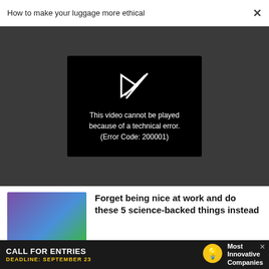How to make your luggage more ethical
[Figure (screenshot): Video player showing error: 'This video cannot be played because of a technical error. (Error Code: 200001)']
[Figure (photo): Colorized photo of people working together at a table]
Forget being nice at work and do these 5 science-backed things instead
[Figure (photo): Gradient image in pink/orange tones]
LEADERSHIP
7 reasons why emotional leaders
[Figure (other): Advertisement banner: CALL FOR ENTRIES, DEADLINE: SEPTEMBER 23, Most Innovative Companies]